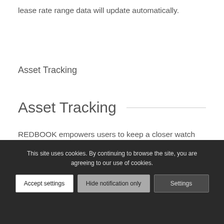lease rate range data will update automatically.
Asset Tracking
Asset Tracking
REDBOOK empowers users to keep a closer watch
This site uses cookies. By continuing to browse the site, you are agreeing to our use of cookies.